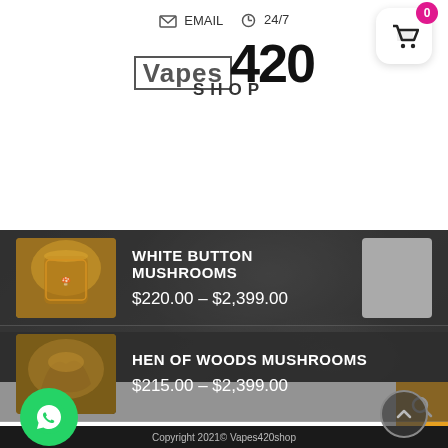EMAIL   24/7
[Figure (logo): Vapes420 Shop logo with stylized text]
[Figure (photo): White Button Mushrooms product thumbnail - jar of dried mushrooms]
WHITE BUTTON MUSHROOMS
$220.00 – $2,399.00
[Figure (photo): Hen of Woods Mushrooms product thumbnail - dried mushrooms]
HEN OF WOODS MUSHROOMS
$215.00 – $2,399.00
SEARCH
Search...
Copyright 2021© Vapes420shop